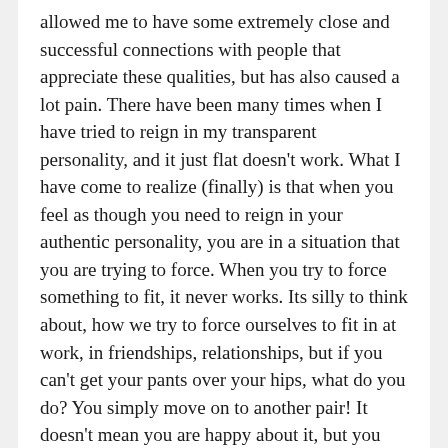allowed me to have some extremely close and successful connections with people that appreciate these qualities, but has also caused a lot pain. There have been many times when I have tried to reign in my transparent personality, and it just flat doesn't work. What I have come to realize (finally) is that when you feel as though you need to reign in your authentic personality, you are in a situation that you are trying to force. When you try to force something to fit, it never works. Its silly to think about, how we try to force ourselves to fit in at work, in friendships, relationships, but if you can't get your pants over your hips, what do you do? You simply move on to another pair! It doesn't mean you are happy about it, but you don't have a choice! Life is not always as cut and dry as not fitting into a pair of pants, but my point is that, the sooner that we allow ourselves to be transparent and really accept who we are as individuals, the easier our lives will become.